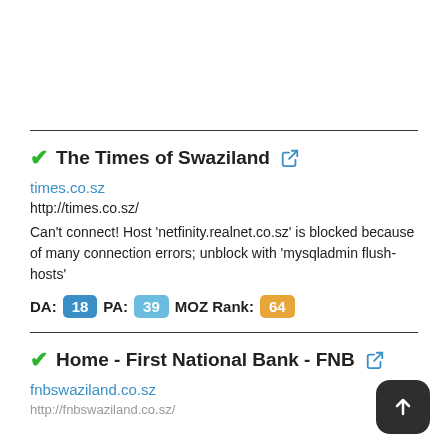The Times of Swaziland
times.co.sz
http://times.co.sz/
Can't connect! Host 'netfinity.realnet.co.sz' is blocked because of many connection errors; unblock with 'mysqladmin flush-hosts'
DA: 18  PA: 39  MOZ Rank: 64
Home - First National Bank - FNB
fnbswaziland.co.sz